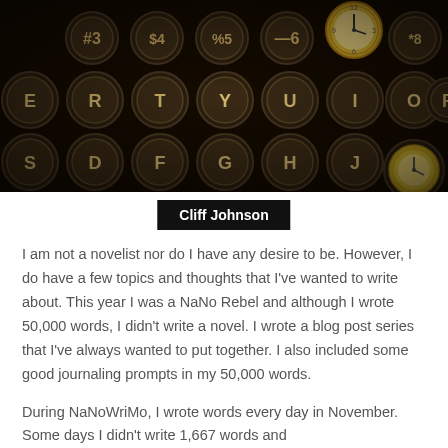[Figure (photo): Close-up photograph of vintage typewriter keys in dark brown/black tones with a pocket watch visible among the keys. Keys show letters E, R, T, Y, U, I, O, P on top row and S, D, F, G, H, J on bottom row, with number keys 3, 4, 5, 6, 8, 9, 0 on the top.]
Cliff Johnson
I am not a novelist nor do I have any desire to be. However, I do have a few topics and thoughts that I've wanted to write about. This year I was a NaNo Rebel and although I wrote 50,000 words, I didn't write a novel. I wrote a blog post series that I've always wanted to put together. I also included some good journaling prompts in my 50,000 words.
During NaNoWriMo, I wrote words every day in November. Some days I didn't write 1,667 words and